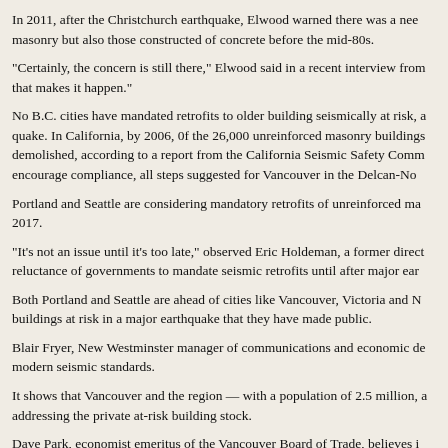In 2011, after the Christchurch earthquake, Elwood warned there was a need to look at not only unreinforced masonry but also those constructed of concrete before the mid-80s.
“Certainly, the concern is still there,” Elwood said in a recent interview from his Vancouver office. “It’s the will that makes it happen.”
No B.C. cities have mandated retrofits to older building seismically at risk, a move that could avert disaster in a big quake. In California, by 2006, 0f the 26,000 unreinforced masonry buildings identified, 95 per cent had been retrofitted or demolished, according to a report from the California Seismic Safety Commission. To identify the buildings at risk and encourage compliance, all steps suggested for Vancouver in the Delcan-Norman report.
Portland and Seattle are considering mandatory retrofits of unreinforced masonry buildings with a deadline around 2017.
“It’s not an issue until it’s too late,” observed Eric Holdeman, a former director of Seattle’s emergency management, on the reluctance of governments to mandate seismic retrofits until after major earthquakes.
Both Portland and Seattle are ahead of cities like Vancouver, Victoria and New Westminster in having public lists of buildings at risk in a major earthquake that they have made public.
Blair Fryer, New Westminster manager of communications and economic development, said the city is studying buildings not up to modern seismic standards.
It shows that Vancouver and the region — with a population of 2.5 million, and growing — has a long way to go in addressing the private at-risk building stock.
Dave Park, economist emeritus of the Vancouver Board of Trade, believes it is in the economic interest of the region to retrofit.
It’s necessary, he said, not only because of the deaths and injuries that could result but because a major Vancouver earthquake could bring the region’s economy to a standstill for years.
He is particularly concerned about unreinforced masonry buildings. “They don’t need to be torn down, they need to get upgrades.